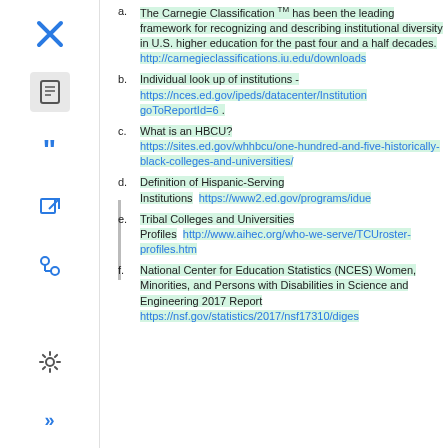a. The Carnegie Classification TM has been the leading framework for recognizing and describing institutional diversity in U.S. higher education for the past four and a half decades. http://carnegieclassifications.iu.edu/downloads
b. Individual look up of institutions - https://nces.ed.gov/ipeds/datacenter/InstitutionList.aspx?goToReportId=6 .
c. What is an HBCU? https://sites.ed.gov/whhbcu/one-hundred-and-five-historically-black-colleges-and-universities/
d. Definition of Hispanic-Serving Institutions https://www2.ed.gov/programs/idue
e. Tribal Colleges and Universities Profiles http://www.aihec.org/who-we-serve/TCUroster-profiles.htm
f. National Center for Education Statistics (NCES) Women, Minorities, and Persons with Disabilities in Science and Engineering 2017 Report https://nsf.gov/statistics/2017/nsf17310/digest/